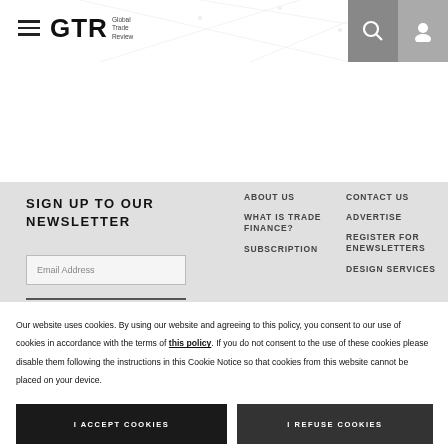GTR Global Trade Review — navigation header with hamburger menu, search icon, user icon
SIGN UP TO OUR NEWSLETTER
Email Address
ABOUT US
WHAT IS TRADE FINANCE?
SUBSCRIPTION
CONTACT US
ADVERTISE
REGISTER FOR ENEWSLETTERS
DESIGN SERVICES
Our website uses cookies. By using our website and agreeing to this policy, you consent to our use of cookies in accordance with the terms of this policy. If you do not consent to the use of these cookies please disable them following the instructions in this Cookie Notice so that cookies from this website cannot be placed on your device.
I ACCEPT COOKIES
I REFUSE COOKIES